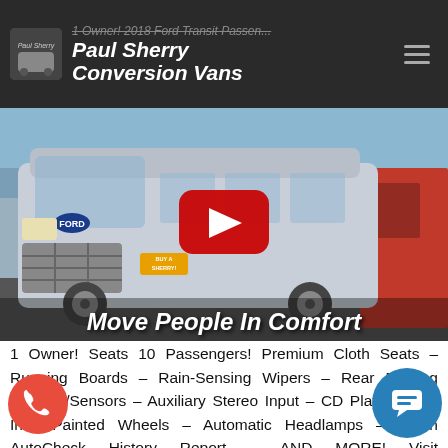Paul Sherry Conversion Vans
[Figure (photo): A silver Ford Transit Passenger Van with 'Buy A Sherry!' dealer badge, shown with a YouTube play button overlay and 'Move People In Comfort' text overlay at bottom]
1 Owner! Seats 10 Passengers! Premium Cloth Seats – Running Boards – Rain-Sensing Wipers – Rear Parking Camera/Sensors – Auxiliary Stereo Input – CD Player – 16-Inch Painted Wheels – Automatic Headlamps – Clean AutoCheck History Report – AND MORE! Visit WWW.SHERRYVANS.COM to see more pictures and a detailed HD video of this custom Ingot Silver Metallic 2018 Ford Transit T-150 Medium Roof XLT Passenger Van in Piqua, Ohio. Do you know that we offer competitive financing options and can assist with delivery? These are only some of